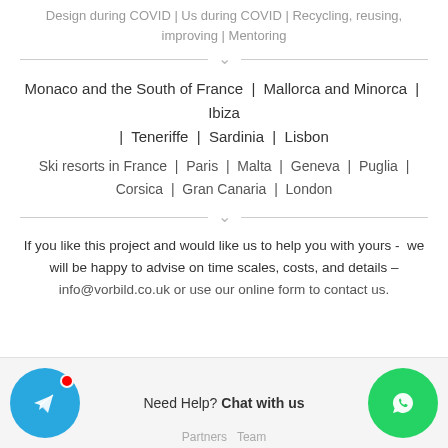Design during COVID | Us during COVID | Recycling, reusing, improving | Mentoring
Monaco and the South of France  |  Mallorca and Minorca  |  Ibiza  |  Teneriffe  |  Sardinia  |  Lisbon
Ski resorts in France  |  Paris  |  Malta  |  Geneva  |  Puglia  |  Corsica  |  Gran Canaria  |  London
If you like this project and would like us to help you with yours -  we will be happy to advise on time scales, costs, and details –
info@vorbild.co.uk or use our online form to contact us.
[Figure (other): Telegram chat button (blue circle with paper plane icon and red notification dot)]
Need Help? Chat with us
[Figure (other): WhatsApp button (green circle with phone/speech bubble icon)]
Partners  Team